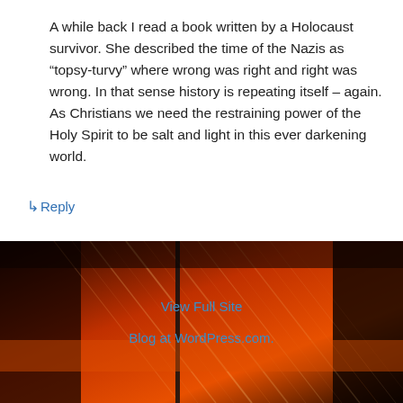A while back I read a book written by a Holocaust survivor. She described the time of the Nazis as “topsy-turvy” where wrong was right and right was wrong. In that sense history is repeating itself – again. As Christians we need the restraining power of the Holy Spirit to be salt and light in this ever darkening world.
↳ Reply
[Figure (photo): Dark reddish-orange abstract photo with diagonal streaks of light, resembling industrial machinery or abstract art, with deep shadows and warm orange tones.]
View Full Site
Blog at WordPress.com.